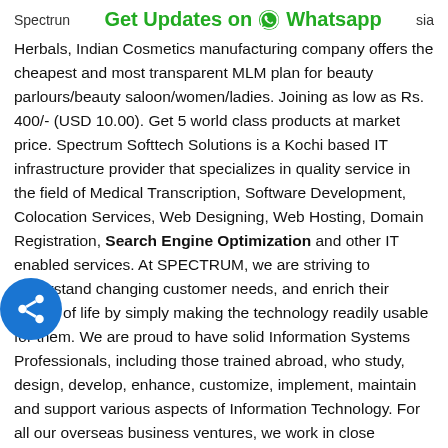Spectrum   Get Updates on  Whatsapp   sia
Herbals, Indian Cosmetics manufacturing company offers the cheapest and most transparent MLM plan for beauty parlours/beauty saloon/women/ladies. Joining as low as Rs. 400/- (USD 10.00). Get 5 world class products at market price. Spectrum Softtech Solutions is a Kochi based IT infrastructure provider that specializes in quality service in the field of Medical Transcription, Software Development, Colocation Services, Web Designing, Web Hosting, Domain Registration, Search Engine Optimization and other IT enabled services. At SPECTRUM, we are striving to understand changing customer needs, and enrich their quality of life by simply making the technology readily usable for them. We are proud to have solid Information Systems Professionals, including those trained abroad, who study, design, develop, enhance, customize, implement, maintain and support various aspects of Information Technology. For all our overseas business ventures, we work in close association with our business partner, M/s. Spectrum Software Solutions Inc. USA. Get all the information of Investment details, Property details, and other details to become a Franchisee today.